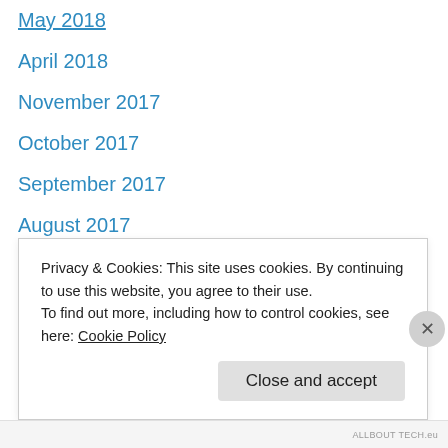May 2018
April 2018
November 2017
October 2017
September 2017
August 2017
June 2017
April 2017
February 2017
January 2017
November 2016
October 2016
September 2016
Privacy & Cookies: This site uses cookies. By continuing to use this website, you agree to their use. To find out more, including how to control cookies, see here: Cookie Policy